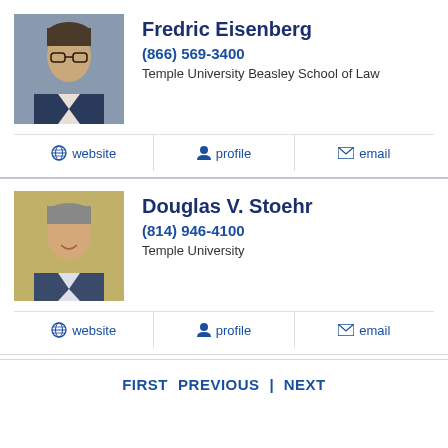[Figure (photo): Headshot photo of Fredric Eisenberg]
Fredric Eisenberg
(866) 569-3400
Temple University Beasley School of Law
website  profile  email
[Figure (photo): Headshot photo of Douglas V. Stoehr]
Douglas V. Stoehr
(814) 946-4100
Temple University
website  profile  email
FIRST   PREVIOUS   |   NEXT